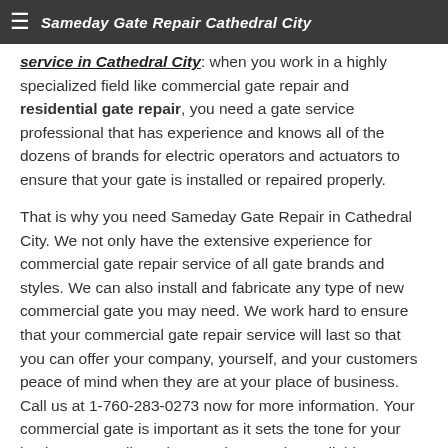Sameday Gate Repair Cathedral City
...just the gate repair service in Cathedral City: when you work in a highly specialized field like commercial gate repair and residential gate repair, you need a gate service professional that has experience and knows all of the dozens of brands for electric operators and actuators to ensure that your gate is installed or repaired properly.
That is why you need Sameday Gate Repair in Cathedral City. We not only have the extensive experience for commercial gate repair service of all gate brands and styles. We can also install and fabricate any type of new commercial gate you may need. We work hard to ensure that your commercial gate repair service will last so that you can offer your company, yourself, and your customers peace of mind when they are at your place of business. Call us at 1-760-283-0273 now for more information. Your commercial gate is important as it sets the tone for your business as well as elevates the security available to you. We are committed to offering high-quality gate installations as well as other gate services to all our customers in the Cathedral City area.